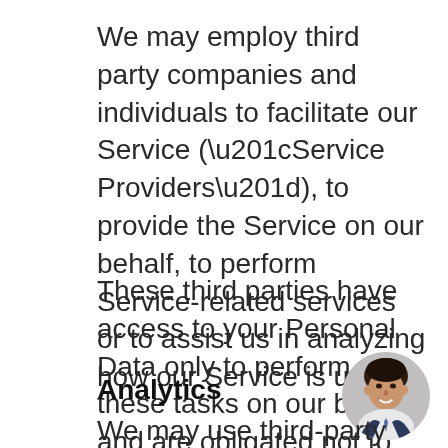We may employ third party companies and individuals to facilitate our Service (“Service Providers”), to provide the Service on our behalf, to perform Service-related services or to assist us in analyzing how our Service is used.
These third parties have access to your Personal Data only to perform these tasks on our behalf and are obligated not to disclose or use it for any other purpose.
Analytics
[Figure (photo): Circular portrait photo of a smiling man in a suit and tie]
We may use third-party Service Providers to monitor and analyze the use of our